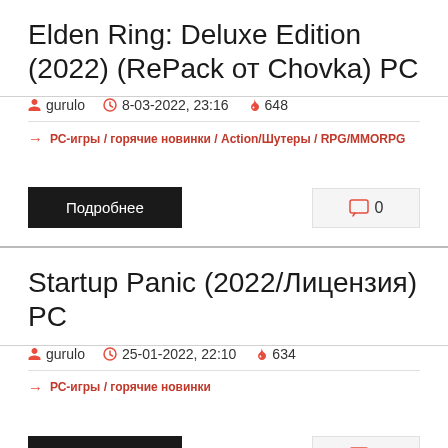Elden Ring: Deluxe Edition (2022) (RePack от Chovka) PC
gurulo  8-03-2022, 23:16  648
→ РС-игры / горячие новинки / Action/Шутеры / RPG/MMORPG
Подробнее  0
Startup Panic (2022/Лицензия) PC
gurulo  25-01-2022, 22:10  634
→ РС-игры / горячие новинки
Подробнее  0